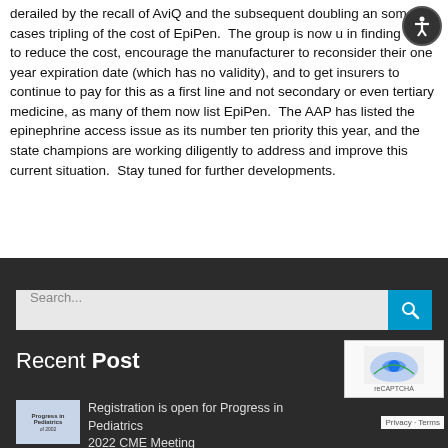derailed by the recall of AviQ and the subsequent doubling and some cases tripling of the cost of EpiPen. The group is now in finding ways to reduce the cost, encourage the manufacturer to reconsider their one year expiration date (which has no validity), and to get insurers to continue to pay for this as a first line and not secondary or even tertiary medicine, as many of them now list EpiPen. The AAP has listed the epinephrine access issue as its number ten priority this year, and the state champions are working diligently to address and improve this current situation. Stay tuned for further developments.
Search...
Recent Post
Registration is open for Progress in Pediatrics 2022 CME Meeting